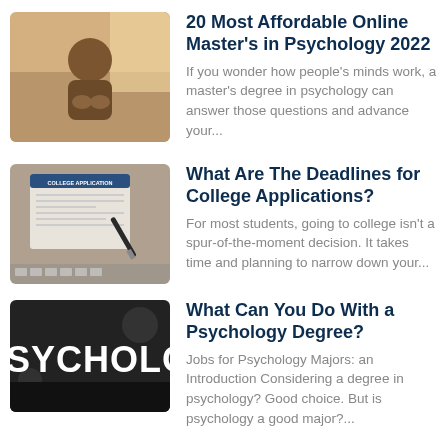[Figure (photo): Person sitting, hands folded, therapy or counseling session]
20 Most Affordable Online Master's in Psychology 2022
If you wonder how people's minds work, a master's degree in psychology can answer those questions and advance your...
[Figure (photo): College application form on a desk with a pen]
What Are The Deadlines for College Applications?
For most students, going to college isn't a spur-of-the-moment decision. It takes time and planning to narrow down your...
[Figure (photo): Dark background with the word PSYCHOLOGY in white text]
What Can You Do With a Psychology Degree?
Jobs for Psychology Majors: an Introduction Considering a degree in psychology? Good choice. But is psychology a good major?...